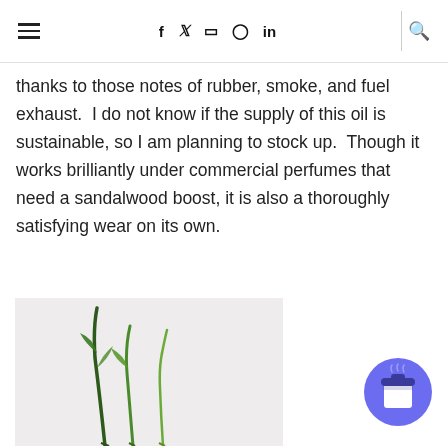Navigation bar with hamburger menu, social icons (f, twitter, instagram, pinterest, in), divider, and search icon
thanks to those notes of rubber, smoke, and fuel exhaust.  I do not know if the supply of this oil is sustainable, so I am planning to stock up.  Though it works brilliantly under commercial perfumes that need a sandalwood boost, it is also a thoroughly satisfying wear on its own.
[Figure (photo): Photo of green plant stems/chives against a light gray/white background]